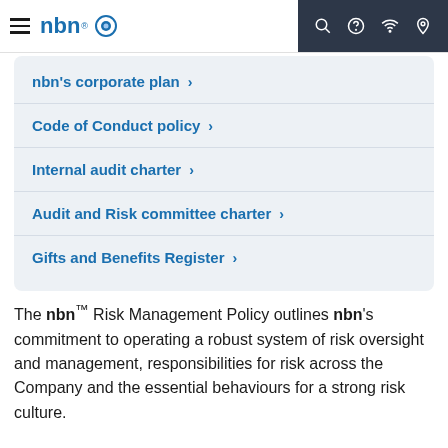nbn navigation header
nbn's corporate plan
Code of Conduct policy
Internal audit charter
Audit and Risk committee charter
Gifts and Benefits Register
The nbn™ Risk Management Policy outlines nbn's commitment to operating a robust system of risk oversight and management, responsibilities for risk across the Company and the essential behaviours for a strong risk culture.